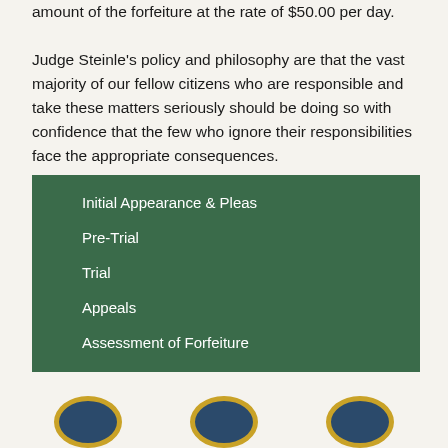amount of the forfeiture at the rate of $50.00 per day. Judge Steinle's policy and philosophy are that the vast majority of our fellow citizens who are responsible and take these matters seriously should be doing so with confidence that the few who ignore their responsibilities face the appropriate consequences.
Initial Appearance & Pleas
Pre-Trial
Trial
Appeals
Assessment of Forfeiture